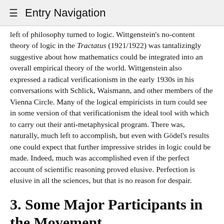≡ Entry Navigation
left of philosophy turned to logic. Wittgenstein's no-content theory of logic in the Tractatus (1921/1922) was tantalizingly suggestive about how mathematics could be integrated into an overall empirical theory of the world. Wittgenstein also expressed a radical verificationism in the early 1930s in his conversations with Schlick, Waismann, and other members of the Vienna Circle. Many of the logical empiricists in turn could see in some version of that verificationism the ideal tool with which to carry out their anti-metaphysical program. There was, naturally, much left to accomplish, but even with Gödel's results one could expect that further impressive strides in logic could be made. Indeed, much was accomplished even if the perfect account of scientific reasoning proved elusive. Perfection is elusive in all the sciences, but that is no reason for despair.
3. Some Major Participants in the Movement